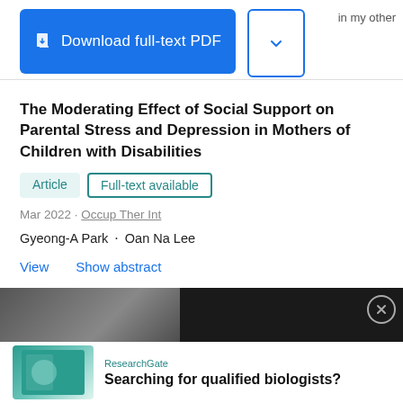[Figure (screenshot): Download full-text PDF button (blue) and dropdown button with chevron icon]
The Moderating Effect of Social Support on Parental Stress and Depression in Mothers of Children with Disabilities
Article  Full-text available
Mar 2022 · Occup Ther Int
Gyeong-A Park · Oan Na Lee
View  Show abstract
[Figure (screenshot): Video advertisement overlay showing lab equipment with play button and text: Learn how to best influence lab equipment purchasing behavior]
ResearchGate
Searching for qualified biologists?